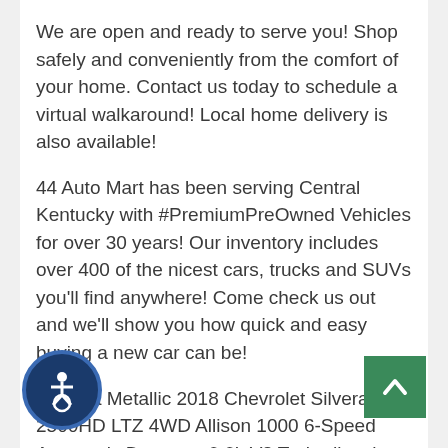We are open and ready to serve you! Shop safely and conveniently from the comfort of your home. Contact us today to schedule a virtual walkaround! Local home delivery is also available!
44 Auto Mart has been serving Central Kentucky with #PremiumPreOwned Vehicles for over 30 years! Our inventory includes over 400 of the nicest cars, trucks and SUVs you'll find anywhere! Come check us out and we'll show you how quick and easy buying a new car can be!
Havana Metallic 2018 Chevrolet Silverado 2500HD LTZ 4WD Allison 1000 6-Speed Automatic Duramax 6.6L V8 Turbodiesel
Allison 1000 6-Speed Automatic 4WD Jet...